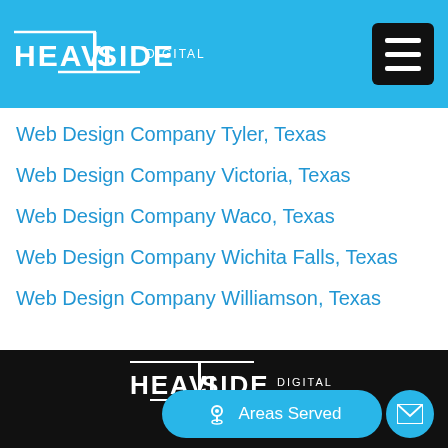Heaviside Digital — Navigation header with logo and menu button
Web Design Company Tyler, Texas
Web Design Company Victoria, Texas
Web Design Company Waco, Texas
Web Design Company Wichita Falls, Texas
Web Design Company Williamson, Texas
[Figure (logo): Heaviside Digital logo in white on dark background]
Areas Served